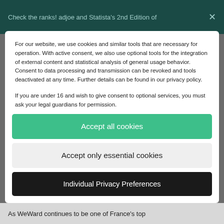Check the ranks! adjoe and Statista's 2nd Edition of
For our website, we use cookies and similar tools that are necessary for operation. With active consent, we also use optional tools for the integration of external content and statistical analysis of general usage behavior. Consent to data processing and transmission can be revoked and tools deactivated at any time. Further details can be found in our privacy policy.
If you are under 16 and wish to give consent to optional services, you must ask your legal guardians for permission.
We use cookies and other technologies on our website. Some of them are essential, while others help us to improve this website and your experience. Personal data may be processed (e.g. IP addresses), for example for personalized ads and content or ad and content measurement. You can find more information about the
Accept all cookies
Accept only essential cookies
Individual Privacy Preferences
As WeWard continues to be one of France's top